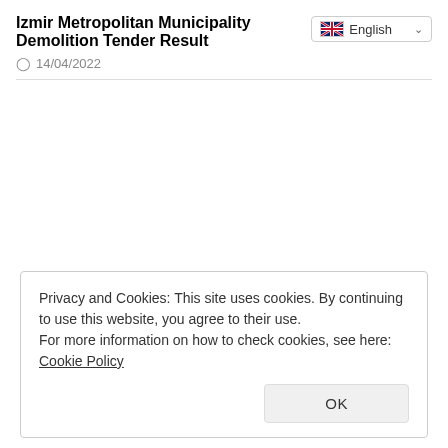Izmir Metropolitan Municipality Demolition Tender Result
14/04/2022
Privacy and Cookies: This site uses cookies. By continuing to use this website, you agree to their use.
For more information on how to check cookies, see here: Cookie Policy
OK